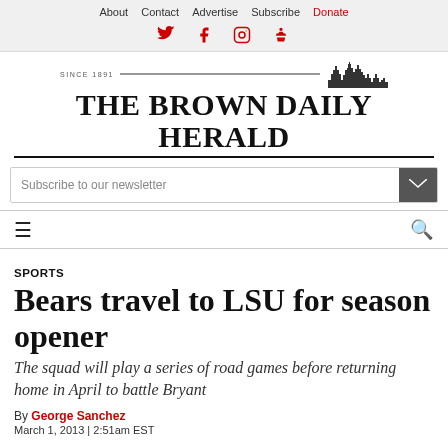About  Contact  Advertise  Subscribe  Donate
[Figure (logo): The Brown Daily Herald newspaper masthead logo with skyline illustration and 'SINCE 1891' text]
Subscribe to our newsletter
SPORTS
Bears travel to LSU for season opener
The squad will play a series of road games before returning home in April to battle Bryant
By George Sanchez
March 1, 2013 | 2:51am EST